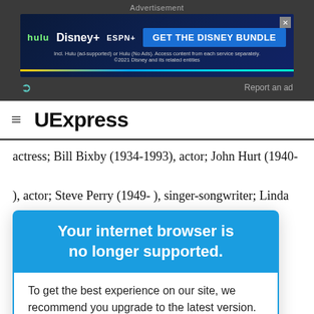[Figure (screenshot): Disney Bundle advertisement banner with Hulu, Disney+, ESPN+ logos and 'GET THE DISNEY BUNDLE' call to action button on dark blue background]
Report an ad
UExpress
actress; Bill Bixby (1934-1993), actor; John Hurt (1940- ), actor; Steve Perry (1949- ), singer-songwriter; Linda
- ), actress; nez (1984- ), all player. omputer was Ridley Scott on
Your internet browser is no longer supported.
To get the best experience on our site, we recommend you upgrade to the latest version.